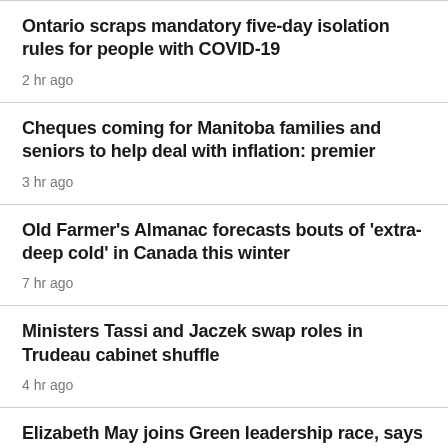Ontario scraps mandatory five-day isolation rules for people with COVID-19
2 hr ago
Cheques coming for Manitoba families and seniors to help deal with inflation: premier
3 hr ago
Old Farmer's Almanac forecasts bouts of 'extra-deep cold' in Canada this winter
7 hr ago
Ministers Tassi and Jaczek swap roles in Trudeau cabinet shuffle
4 hr ago
Elizabeth May joins Green leadership race, says